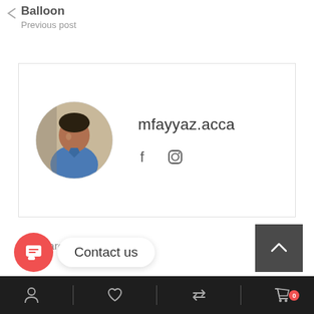Balloon
Previous post
[Figure (photo): Author card with circular profile photo of a man in a blue shirt, username 'mfayyaz.acca', and social media icons for Facebook and Instagram]
There are no comments
[Figure (infographic): Contact us chat button (red circle with chat icon) and white pill-shaped label saying 'Contact us']
[Figure (infographic): Bottom navigation bar with icons: person/account, heart/wishlist, transfer/swap, shopping cart with badge '0'. Dark background.]